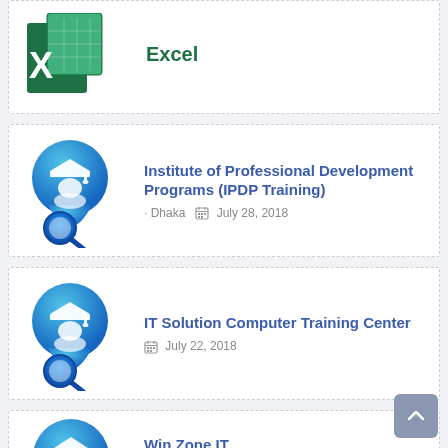[Figure (screenshot): Excel logo icon top partial card]
[Figure (logo): Blue graduation cap map pin icon for IPDP Training card]
Institute of Professional Development Programs (IPDP Training)
· Dhaka   July 28, 2018
[Figure (logo): Blue graduation cap map pin icon for IT Solution Computer Training Center card]
IT Solution Computer Training Center
July 22, 2018
[Figure (logo): Blue graduation cap circle icon for Win Zone IT card (partial)]
Win Zone IT
July 22, 2018